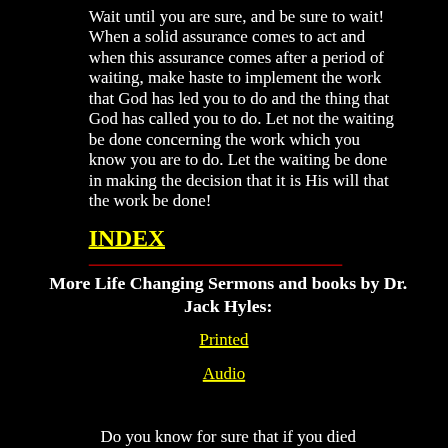Wait until you are sure, and be sure to wait! When a solid assurance comes to act and when this assurance comes after a period of waiting, make haste to implement the work that God has led you to do and the thing that God has called you to do. Let not the waiting be done concerning the work which you know you are to do. Let the waiting be done in making the decision that it is His will that the work be done!
INDEX
More Life Changing Sermons and books by Dr. Jack Hyles:
Printed
Audio
Do you know for sure that if you died